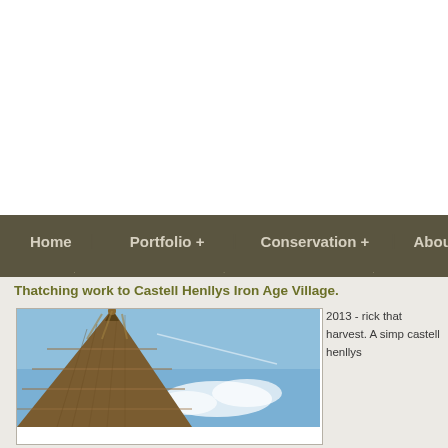[Figure (other): White banner/header area at top of website]
Home   Portfolio +   Conservation +   About U
Thatching work to Castell Henllys Iron Age Village.
[Figure (photo): Photo of a thatched roof with conical peak against a blue sky with clouds]
2013 - rick that harvest. A simp castell henllys